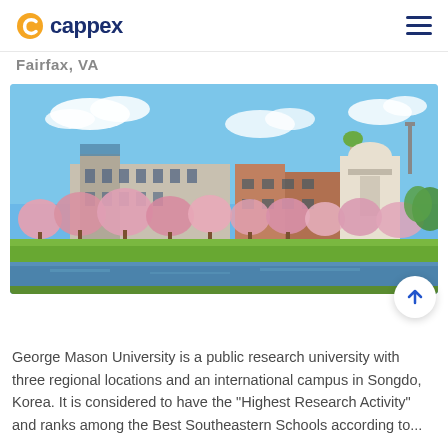cappex
Fairfax, VA
[Figure (photo): George Mason University campus photo showing modern university buildings with cherry blossom trees in full bloom along a pond or lake, with blue sky and white clouds in the background. Spring scenery with pink flowering trees and green lawns.]
George Mason University is a public research university with three regional locations and an international campus in Songdo, Korea. It is considered to have the "Highest Research Activity" and ranks among the Best Southeastern Schools according to...